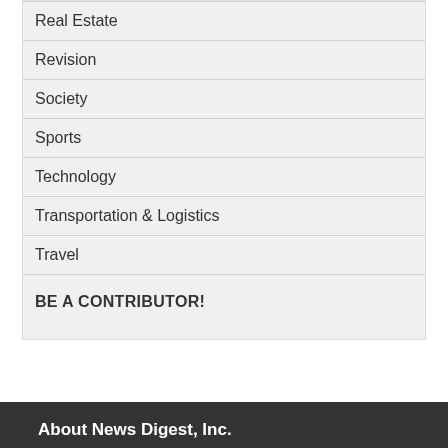Real Estate
Revision
Society
Sports
Technology
Transportation & Logistics
Travel
BE A CONTRIBUTOR!
About News Digest, Inc.